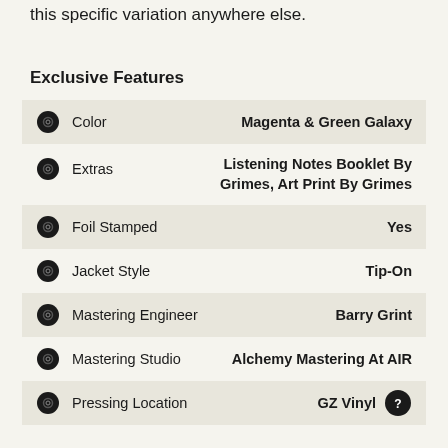This record was pressed by VMP and you can get this specific variation anywhere else.
Exclusive Features
| Feature | Value |
| --- | --- |
| Color | Magenta & Green Galaxy |
| Extras | Listening Notes Booklet By Grimes, Art Print By Grimes |
| Foil Stamped | Yes |
| Jacket Style | Tip-On |
| Mastering Engineer | Barry Grint |
| Mastering Studio | Alchemy Mastering At AIR |
| Pressing Location | GZ Vinyl |